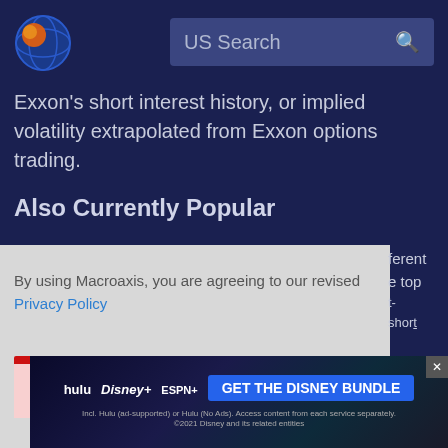[Figure (logo): Macroaxis globe logo with orange and blue design]
US Search
Exxon's short interest history, or implied volatility extrapolated from Exxon options trading.
Also Currently Popular
By using Macroaxis, you are agreeing to our revised Privacy Policy
[Figure (screenshot): Advertisement banner for Disney Bundle featuring Hulu, Disney+, ESPN+ with GET THE DISNEY BUNDLE call to action]